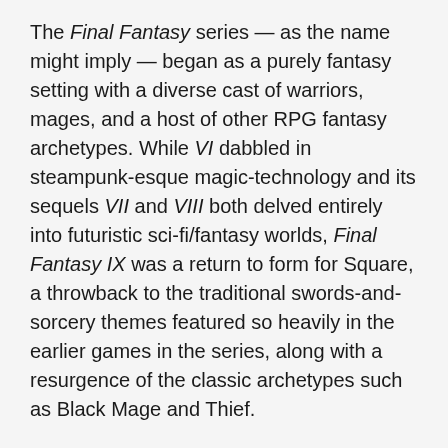The Final Fantasy series — as the name might imply — began as a purely fantasy setting with a diverse cast of warriors, mages, and a host of other RPG fantasy archetypes. While VI dabbled in steampunk-esque magic-technology and its sequels VII and VIII both delved entirely into futuristic sci-fi/fantasy worlds, Final Fantasy IX was a return to form for Square, a throwback to the traditional swords-and-sorcery themes featured so heavily in the earlier games in the series, along with a resurgence of the classic archetypes such as Black Mage and Thief.
Fortunately for Square, the gambit was a huge success — released near the end of what many would consider to be the golden age of JRPGs (the era spanning the SNES and PlayStation 1), IX paints a stunningly gorgeous world full of colour, life and character. Loaded with enough nostalgia to appeal to fans of the older games in the series, the game is still easily strong enough to stand on